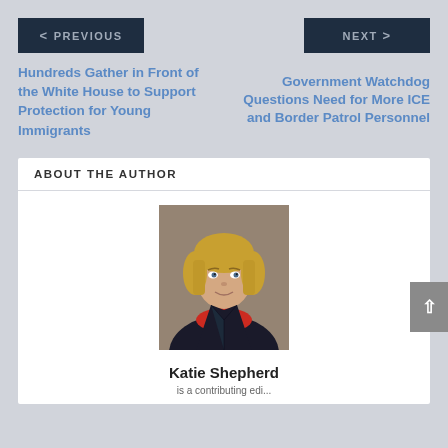< PREVIOUS
NEXT >
Hundreds Gather in Front of the White House to Support Protection for Young Immigrants
Government Watchdog Questions Need for More ICE and Border Patrol Personnel
ABOUT THE AUTHOR
[Figure (photo): Professional headshot of Katie Shepherd, a woman with blonde hair wearing a black blazer and red top, photographed in front of a neutral background.]
Katie Shepherd